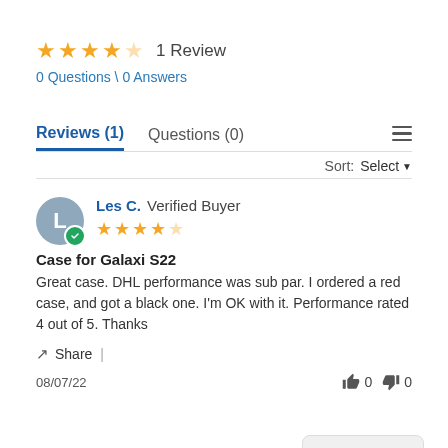★★★★☆  1 Review
0 Questions \ 0 Answers
Reviews (1)   Questions (0)
Sort: Select
Les C. Verified Buyer ★★★★☆
Case for Galaxi S22
Great case. DHL performance was sub par. I ordered a red case, and got a black one. I'm OK with it. Performance rated 4 out of 5. Thanks
Share |
08/07/22   👍 0  👎 0
CONTACT